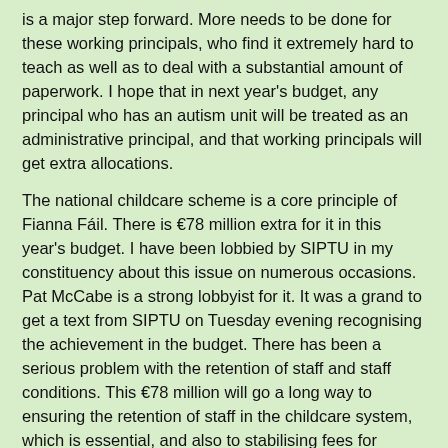is a major step forward. More needs to be done for these working principals, who find it extremely hard to teach as well as to deal with a substantial amount of paperwork. I hope that in next year's budget, any principal who has an autism unit will be treated as an administrative principal, and that working principals will get extra allocations.
The national childcare scheme is a core principle of Fianna Fáil. There is €78 million extra for it in this year's budget. I have been lobbied by SIPTU in my constituency about this issue on numerous occasions. Pat McCabe is a strong lobbyist for it. It was a grand to get a text from SIPTU on Tuesday evening recognising the achievement in the budget. There has been a serious problem with the retention of staff and staff conditions. This €78 million will go a long way to ensuring the retention of staff in the childcare system, which is essential, and also to stabilising fees for parents, another core policy issue for us.
Another important issue is the change to qualify for carer's allowance. It is the first time in 14 years that this has been addressed. That is linked to the €90 million for housing adaptations and means that many families will be able to consider looking after their older family members at home. While it is our policy, a shoulder needed to be put to the wheel to ensure that families could achieve their objectives. That change in the criteria for carers and the money for housing adaptations will be important for families who want to try to keep senior family members at home and look after them there.